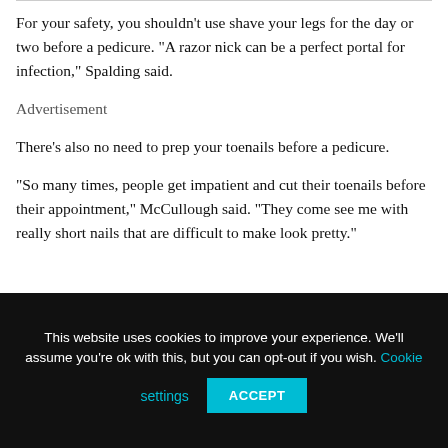For your safety, you shouldn’t use shave your legs for the day or two before a pedicure. “A razor nick can be a perfect portal for infection,” Spalding said.
Advertisement
There’s also no need to prep your toenails before a pedicure.
“So many times, people get impatient and cut their toenails before their appointment,” McCullough said. “They come see me with really short nails that are difficult to make look pretty.”
This website uses cookies to improve your experience. We'll assume you're ok with this, but you can opt-out if you wish. Cookie settings ACCEPT